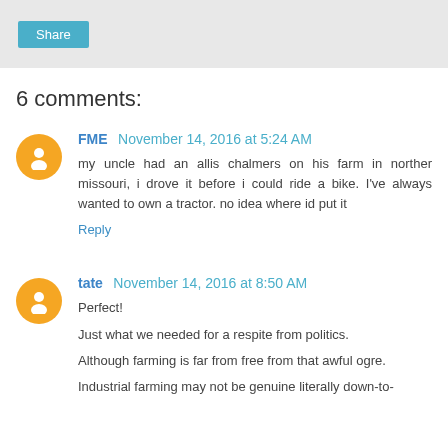Share
6 comments:
FME November 14, 2016 at 5:24 AM
my uncle had an allis chalmers on his farm in norther missouri, i drove it before i could ride a bike. I've always wanted to own a tractor. no idea where id put it
Reply
tate November 14, 2016 at 8:50 AM
Perfect!

Just what we needed for a respite from politics.

Although farming is far from free from that awful ogre.

Industrial farming may not be genuine literally down-to-